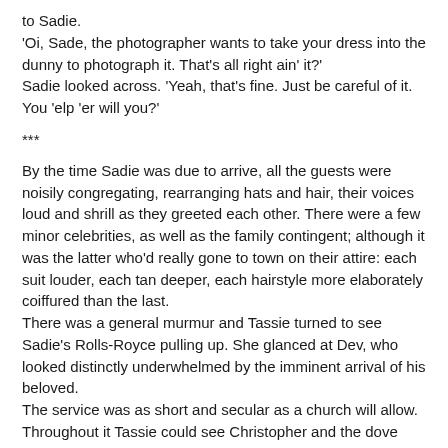to Sadie.
'Oi, Sade, the photographer wants to take your dress into the dunny to photograph it. That's all right ain' it?'
Sadie looked across. 'Yeah, that's fine. Just be careful of it. You 'elp 'er will you?'
***
By the time Sadie was due to arrive, all the guests were noisily congregating, rearranging hats and hair, their voices loud and shrill as they greeted each other. There were a few minor celebrities, as well as the family contingent; although it was the latter who'd really gone to town on their attire: each suit louder, each tan deeper, each hairstyle more elaborately coiffured than the last.
There was a general murmur and Tassie turned to see Sadie's Rolls-Royce pulling up. She glanced at Dev, who looked distinctly underwhelmed by the imminent arrival of his beloved.
The service was as short and secular as a church will allow. Throughout it Tassie could see Christopher and the dove man talking, the latter frequently peering up at the stained-